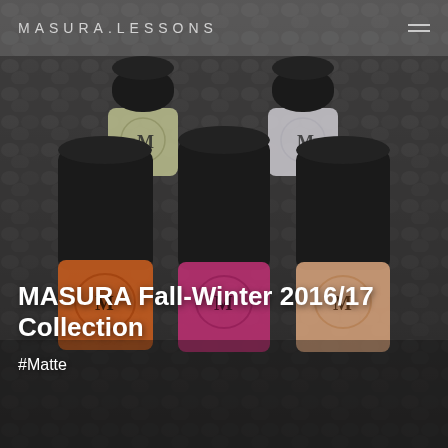MASURA.LESSONS
[Figure (photo): Dark moody photograph of five MASURA nail polish bottles arranged on a chunky knit grey background. Two bottles visible in back row (olive green cap, pale grey cap), three bottles in front row (burnt orange, hot pink, peach/nude). All bottles have black cylindrical caps and decorative label designs with the MASURA logo. The image is dark with dramatic low-key lighting.]
MASURA Fall-Winter 2016/17 Collection
#Matte